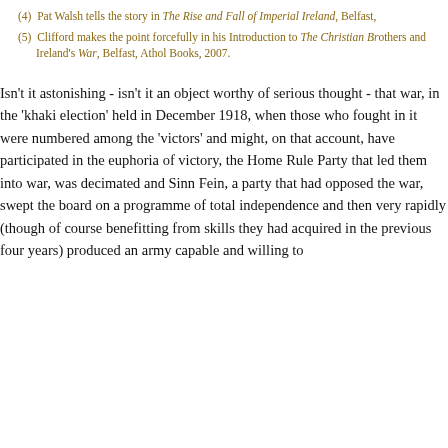(4)  Pat Walsh tells the story in The Rise and Fall of Imperial Ireland, Belfast,
(5)  Clifford makes the point forcefully in his Introduction to The Christian Brothers and Ireland's War, Belfast, Athol Books, 2007.
Isn't it astonishing - isn't it an object worthy of serious thought - that war, in the 'khaki election' held in December 1918, when those who fought in it were numbered among the 'victors' and might, on that account, have participated in the euphoria of victory, the Home Rule Party that led them into war, was decimated and Sinn Fein, a party that had opposed the war, swept the board on a programme of total independence and then very rapidly (though of course benefitting from skills they had acquired in the previous four years) produced an army capable and willing to